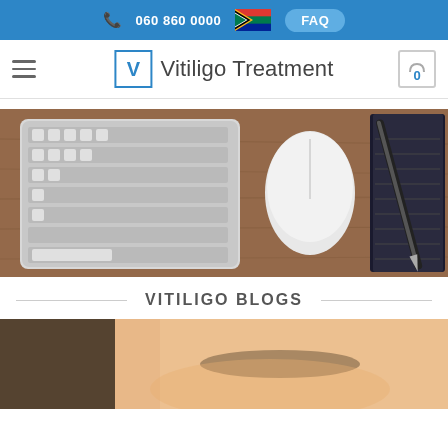060 860 0000  FAQ
Vitiligo Treatment
[Figure (photo): Overhead photo of a keyboard, Apple Magic Mouse, a notebook, and a pen on a wooden desk]
VITILIGO BLOGS
[Figure (photo): Close-up photo of a person's face showing skin near the eyebrow area]